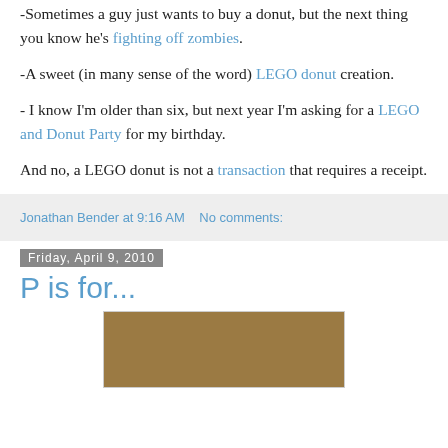-Sometimes a guy just wants to buy a donut, but the next thing you know he's fighting off zombies.
-A sweet (in many sense of the word) LEGO donut creation.
- I know I'm older than six, but next year I'm asking for a LEGO and Donut Party for my birthday.
And no, a LEGO donut is not a transaction that requires a receipt.
Jonathan Bender at 9:16 AM    No comments:
Friday, April 9, 2010
P is for...
[Figure (photo): A brown/tan colored rectangular image, appears to be a photo partially visible at bottom of page]